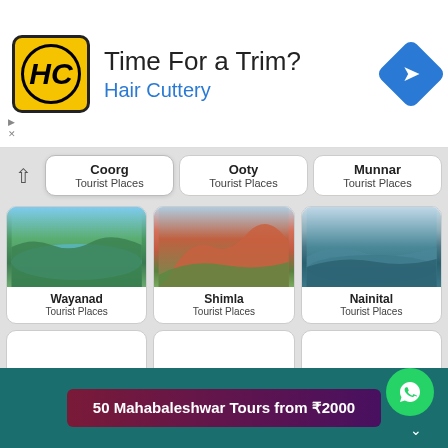[Figure (screenshot): Hair Cuttery advertisement banner with yellow logo showing HC initials, bold text 'Time For a Trim?' and blue text 'Hair Cuttery', with a blue navigation diamond icon]
Coorg
Tourist Places
Ooty
Tourist Places
Munnar
Tourist Places
[Figure (photo): Scenic lake/river with green forest, Wayanad tourist place photo]
Wayanad
Tourist Places
[Figure (photo): Hillside town with colourful buildings, Shimla tourist place photo]
Shimla
Tourist Places
[Figure (photo): Lake with forested hills, Nainital tourist place photo]
Nainital
Tourist Places
50 Mahabaleshwar Tours from ₹2000